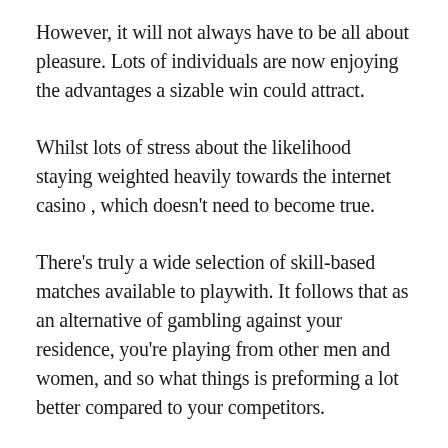However, it will not always have to be all about pleasure. Lots of individuals are now enjoying the advantages a sizable win could attract.
Whilst lots of stress about the likelihood staying weighted heavily towards the internet casino , which doesn't need to become true.
There's truly a wide selection of skill-based matches available to playwith. It follows that as an alternative of gambling against your residence, you're playing from other men and women, and so what things is preforming a lot better compared to your competitors.